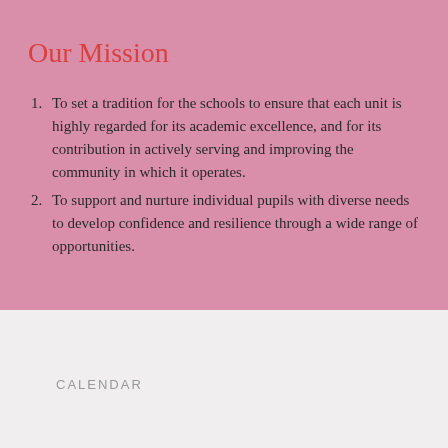Our Mission
To set a tradition for the schools to ensure that each unit is highly regarded for its academic excellence, and for its contribution in actively serving and improving the community in which it operates.
To support and nurture individual pupils with diverse needs to develop confidence and resilience through a wide range of opportunities.
CALENDAR